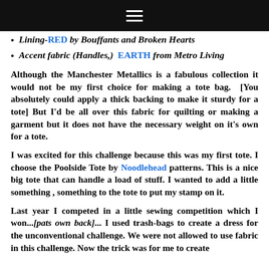≡
Lining-RED by Bouffants and Broken Hearts
Accent fabric (Handles,) EARTH from Metro Living
Although the Manchester Metallics is a fabulous collection it would not be my first choice for making a tote bag.  [You absolutely could apply a thick backing to make it sturdy for a tote] But I'd be all over this fabric for quilting or making a garment but it does not have the necessary weight on it's own for a tote.
I was excited for this challenge because this was my first tote. I choose the Poolside Tote by Noodlehead patterns. This is a nice big tote that can handle a load of stuff. I wanted to add a little something , something to the tote to put my stamp on it.
Last year I competed in a little sewing competition which I won...[pats own back]... I used trash-bags to create a dress for the unconventional challenge. We were not allowed to use fabric in this challenge. Now the trick was for me to create